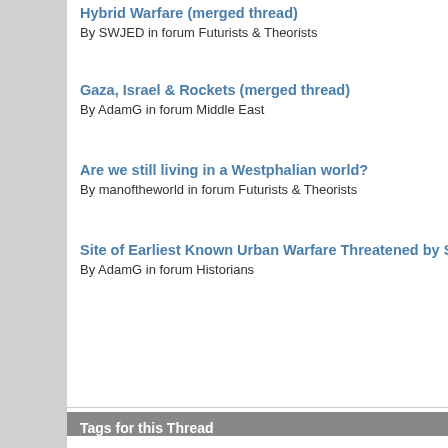Hybrid Warfare (merged thread)
By SWJED in forum Futurists & Theorists
Gaza, Israel & Rockets (merged thread)
By AdamG in forum Middle East
Are we still living in a Westphalian world?
By manoftheworld in forum Futurists & Theorists
Site of Earliest Known Urban Warfare Threatened by Syrian War
By AdamG in forum Historians
Tags for this Thread
afghanistan, architecture, cities, counterinsurgency, data, engineer, megacities, northern ireland, operations, terrorism, urban, urban wa...
View Tag Cloud
Bookmarks
Digg
del.icio.us
StumbleUpon
Google
Posting Perm
You may not post new threads
You may not
You may not post attachments
You may not edit posts